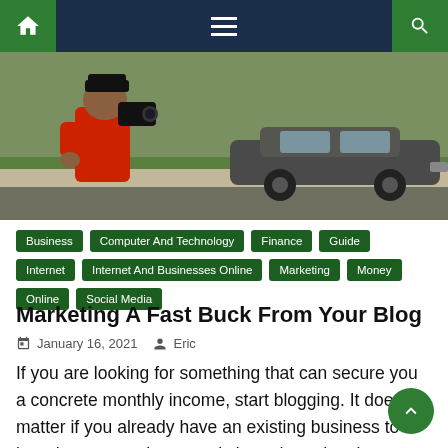Navigation bar with home, menu, and search icons
[Figure (photo): A person in a red shirt filming with a video camera, with a vintage car in the background, video game screenshot style]
Business
Computer And Technology
Finance
Guide
Internet
Internet And Businesses Online
Marketing
Money
Online
Social Media
Marketing A Fast Buck From Your Blog
January 16, 2021   Eric
If you are looking for something that can secure you a concrete monthly income, start blogging. It doesn't matter if you already have an existing business to introduce or you just merely intend to advertise products and services to earn on commissions, 3 Step Viral Blogging System with